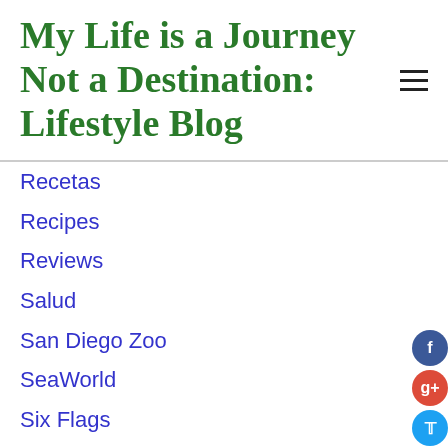My Life is a Journey Not a Destination: Lifestyle Blog
Recetas
Recipes
Reviews
Salud
San Diego Zoo
SeaWorld
Six Flags
Spanish
Spring
Summer Activities
Theme Parks
The Queen Mary
Travel
Tv
Universal Studios
Valentine's Day